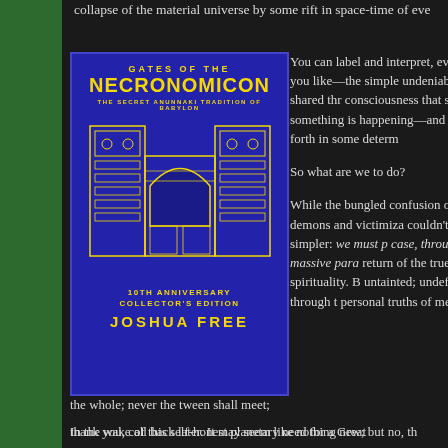collapse of the material universe by some rift in space-time of eve
[Figure (illustration): Book cover for 'Gates of the Necronomicon: The Secret Anunnaki Tradition of Babylon', 10th Anniversary Collector's Edition by Joshua Free. Blue background with image of Babylonian gate architecture in yellow/gold line art.]
You can label and interpret, every any way you like—the simple undeniable feeling shared through consciousness that something, something is happening—and back and forth in some determ
So what are we to do?
While the bungled confusion of anxiety demons and victimiza couldn't be simpler: we must p case, through a massive para return of the true spirituality. B untainted; undefiled through t personal truths of men corrup
the whole; never the tween shall meet;
thank you, call back later. It may seem like nothing new; but no, th
In the wake of this self-honest planetary need for a Great